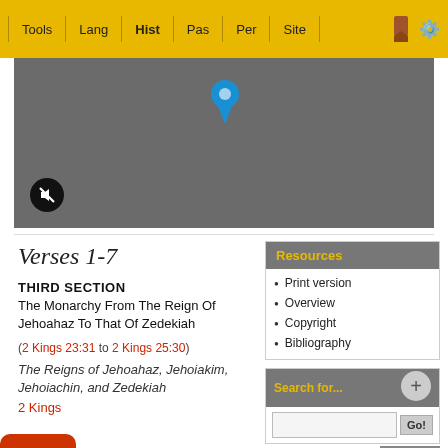Tools | Lang | Hist | Pas | Per | Site
[Figure (screenshot): Video player area with gray background, blue location pin icon, and mute button]
Verses 1-7
THIRD SECTION
The Monarchy From The Reign Of Jehoahaz To That Of Zedekiah
(2 Kings 23:31 to 2 Kings 25:30)
The Reigns of Jehoahaz, Jehoiakim, Jehoiachin, and Zedekiah
2 Kings
Print version
Overview
Copyright
Bibliography
Search for...